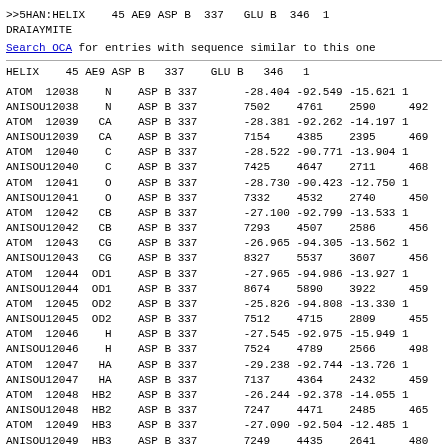>>5HAN:HELIX    45 AE9 ASP B  337   GLU B  346  1
DRAIAYMITE
Search OCA for entries with sequence similar to this one
HELIX    45 AE9 ASP B   337    GLU B   346   1
ATOM  12038    N    ASP B 337       -28.404 -92.549 -15.621 1
ANISOU12038    N    ASP B 337       7502    4761    2590     492
ATOM  12039   CA    ASP B 337       -28.381 -92.262 -14.197 1
ANISOU12039   CA    ASP B 337       7154    4385    2395     469
ATOM  12040    C    ASP B 337       -28.522 -90.771 -13.904 1
ANISOU12040    C    ASP B 337       7425    4647    2711     468
ATOM  12041    O    ASP B 337       -28.730 -90.423 -12.750 1
ANISOU12041    O    ASP B 337       7332    4532    2740     450
ATOM  12042   CB    ASP B 337       -27.100 -92.799 -13.533 1
ANISOU12042   CB    ASP B 337       7293    4507    2586     456
ATOM  12043   CG    ASP B 337       -26.965 -94.305 -13.562 1
ANISOU12043   CG    ASP B 337       8327    5537    3607     456
ATOM  12044  OD1    ASP B 337       -27.965 -94.986 -13.927 1
ANISOU12044  OD1    ASP B 337       8674    5890    3922     459
ATOM  12045  OD2    ASP B 337       -25.826 -94.808 -13.330 1
ANISOU12045  OD2    ASP B 337       7512    4715    2809     455
ATOM  12046    H    ASP B 337       -27.545 -92.975 -15.949 1
ANISOU12046    H    ASP B 337       7524    4789    2566     498
ATOM  12047   HA    ASP B 337       -29.238 -92.744 -13.726 1
ANISOU12047   HA    ASP B 337       7137    4364    2432     459
ATOM  12048  HB2    ASP B 337       -26.244 -92.378 -14.055 1
ANISOU12048  HB2    ASP B 337       7247    4471    2485     465
ATOM  12049  HB3    ASP B 337       -27.090 -92.504 -12.485 1
ANISOU12049  HB3    ASP B 337       7249    4435    2641     480